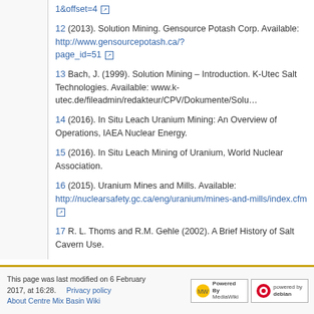1&offset=4 [external link]
12 (2013). Solution Mining. Gensource Potash Corp. Available: http://www.gensourcepotash.ca/?page_id=51 [external link]
13 Bach, J. (1999). Solution Mining – Introduction. K-Utec Salt Technologies. Available: www.k-utec.de/fileadmin/redakteur/CPV/Dokumente/Solu...
14 (2016). In Situ Leach Uranium Mining: An Overview of Operations, IAEA Nuclear Energy.
15 (2016). In Situ Leach Mining of Uranium, World Nuclear Association.
16 (2015). Uranium Mines and Mills. Available: http://nuclearsafety.gc.ca/eng/uranium/mines-and-mills/index.cfm [external link]
17 R. L. Thoms and R.M. Gehle (2002). A Brief History of Salt Cavern Use.
This page was last modified on 6 February 2017, at 16:28.   Privacy policy
About Centre Mix Basin Wiki...